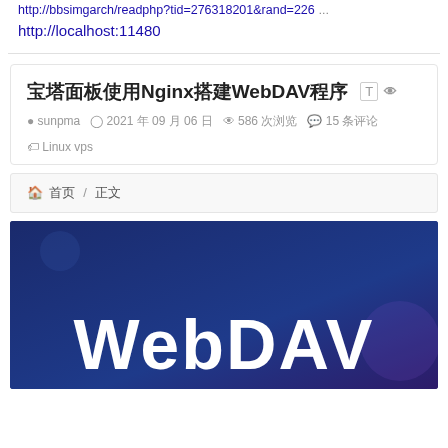http://bbsimgarch/readphp?tid=276318201&rand=226 ... http://localhost:11480
宝塔面板使用Nginx搭建WebDAV程序
sunpma  2021 年 09 月 06 日  586 次浏览  15 条评论  Linux vps
🏠 首页 / 正文
[Figure (screenshot): WebDAV banner image with dark blue gradient background and large white bold 'WebDAV' text]